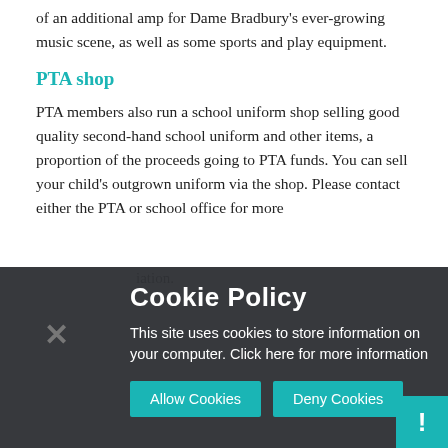of an additional amp for Dame Bradbury's ever-growing music scene, as well as some sports and play equipment.
PTA shop
PTA members also run a school uniform shop selling good quality second-hand school uniform and other items, a proportion of the proceeds going to PTA funds. You can sell your child's outgrown uniform via the shop. Please contact either the PTA or school office for more
[Figure (screenshot): Cookie Policy overlay popup with dark semi-transparent background, showing title 'Cookie Policy', body text 'This site uses cookies to store information on your computer. Click here for more information', two teal buttons 'Allow Cookies' and 'Deny Cookies', a close X button on the left, and a teal badge with exclamation mark in the bottom right corner. Behind the overlay, partially visible text from the underlying page is visible in a dimmed state.]